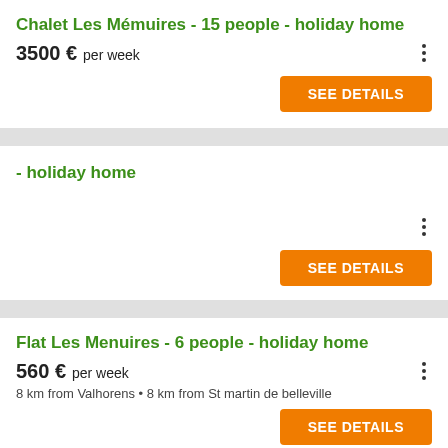Chalet Les Mémuires - 15 people - holiday home
3500 € per week
- holiday home
Flat Les Menuires - 6 people - holiday home
560 € per week
8 km from Valhorens • 8 km from St martin de belleville